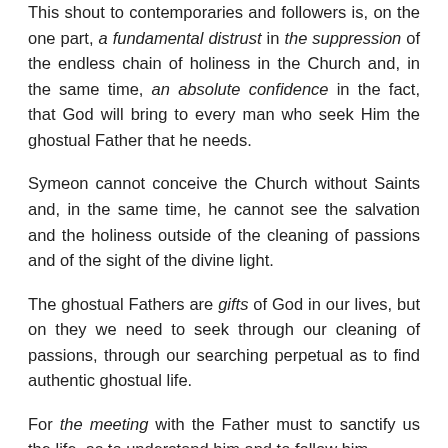This shout to contemporaries and followers is, on the one part, a fundamental distrust in the suppression of the endless chain of holiness in the Church and, in the same time, an absolute confidence in the fact, that God will bring to every man who seek Him the ghostual Father that he needs.
Symeon cannot conceive the Church without Saints and, in the same time, he cannot see the salvation and the holiness outside of the cleaning of passions and of the sight of the divine light.
The ghostual Fathers are gifts of God in our lives, but on they we need to seek through our cleaning of passions, through our searching perpetual as to find authentic ghostual life.
For the meeting with the Father must to sanctify us the life, as to understand him and to follow him.